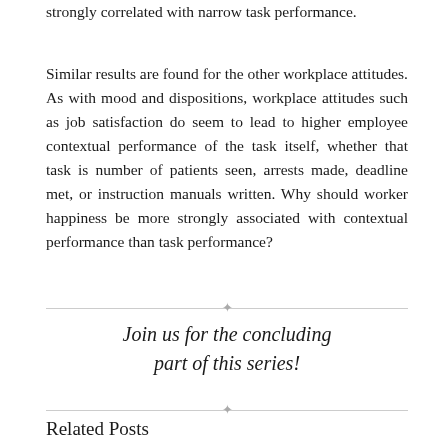strongly correlated with narrow task performance.
Similar results are found for the other workplace attitudes. As with mood and dispositions, workplace attitudes such as job satisfaction do seem to lead to higher employee contextual performance of the task itself, whether that task is number of patients seen, arrests made, deadline met, or instruction manuals written. Why should worker happiness be more strongly associated with contextual performance than task performance?
Join us for the concluding part of this series!
Related Posts